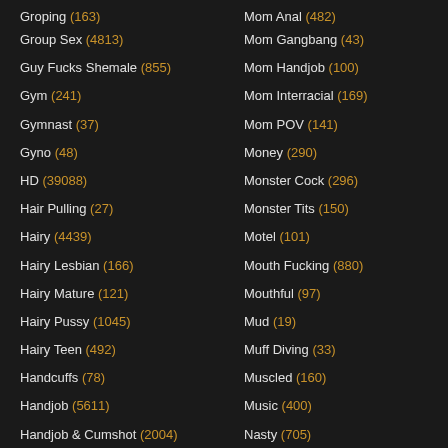Groping (163)
Group Sex (4813)
Guy Fucks Shemale (855)
Gym (241)
Gymnast (37)
Gyno (48)
HD (39088)
Hair Pulling (27)
Hairy (4439)
Hairy Lesbian (166)
Hairy Mature (121)
Hairy Pussy (1045)
Hairy Teen (492)
Handcuffs (78)
Handjob (5611)
Handjob & Cumshot (2004)
Mom Anal (482)
Mom Gangbang (43)
Mom Handjob (100)
Mom Interracial (169)
Mom POV (141)
Money (290)
Monster Cock (296)
Monster Tits (150)
Motel (101)
Mouth Fucking (880)
Mouthful (97)
Mud (19)
Muff Diving (33)
Muscled (160)
Music (400)
Nasty (705)